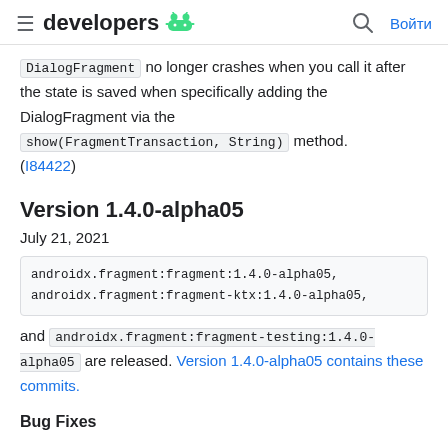≡ developers 🤖  🔍  Войти
DialogFragment no longer crashes when you call it after the state is saved when specifically adding the DialogFragment via the show(FragmentTransaction, String) method. (I84422)
Version 1.4.0-alpha05
July 21, 2021
androidx.fragment:fragment:1.4.0-alpha05, androidx.fragment:fragment-ktx:1.4.0-alpha05, and androidx.fragment:fragment-testing:1.4.0-alpha05 are released. Version 1.4.0-alpha05 contains these commits.
Bug Fixes